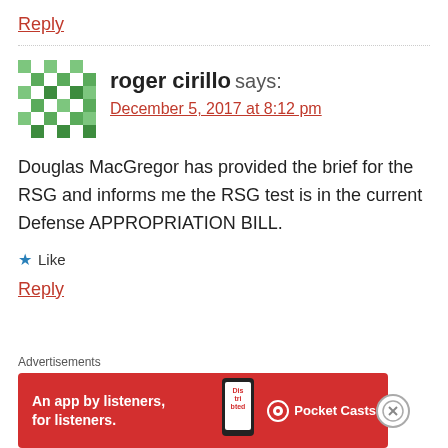Reply
roger cirillo says:
December 5, 2017 at 8:12 pm
Douglas MacGregor has provided the brief for the RSG and informs me the RSG test is in the current Defense APPROPRIATION BILL.
★ Like
Reply
[Figure (infographic): Pocket Casts advertisement banner: red background with text 'An app by listeners, for listeners.' and Pocket Casts logo with phone graphic]